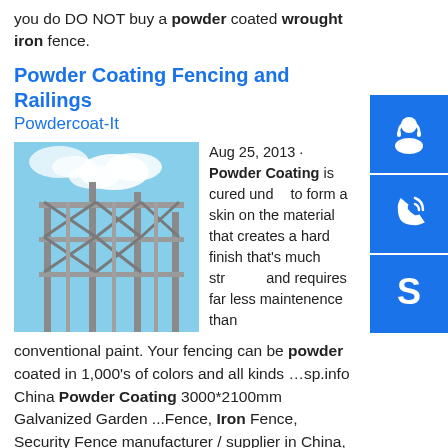you do DO NOT buy a powder coated wrought iron fence.
Powder Coating Fencing and Railings · Powdercoat-It
[Figure (photo): Steel framework / scaffold structure under blue sky, showing metal beams and girders.]
Aug 25, 2013 · Powder Coating is cured under to form a skin on the material that creates a hard finish that's much stronger and requires far less maintenence than conventional paint. Your fencing can be powder coated in 1,000's of colors and all kinds …sp.info China Powder Coating 3000*2100mm Galvanized Garden ...Fence, Iron Fence, Security Fence manufacturer / supplier in China, offering Powder Coating 3000*2100mm Galvanized Garden Security Wrought Iron Fence /Decorative Steel Fencing Designs, High Quality Fence, Ornamental Fence,